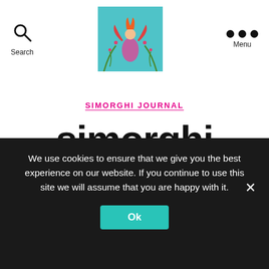Search | [Logo] | Menu
[Figure (illustration): Simorghi website logo: colorful illustration of an angel/bird figure with red wings, pink dress, surrounded by plant branches on a teal/cyan background]
SIMORGHI JOURNAL
simorghi
[Figure (illustration): Partially visible article thumbnail: dark ink drawing of trees with birds, brownish tones on white background]
We use cookies to ensure that we give you the best experience on our website. If you continue to use this site we will assume that you are happy with it.
Ok